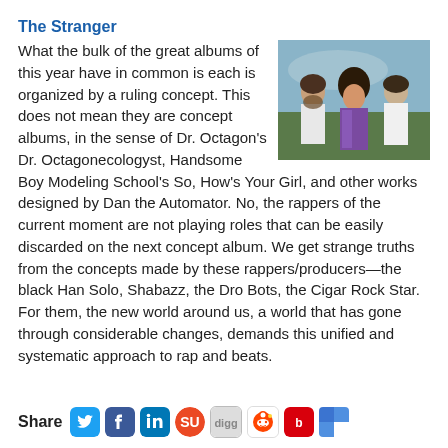The Stranger
[Figure (photo): Three people standing outdoors, one with an afro wearing a purple vest, posed against a sky/landscape background]
What the bulk of the great albums of this year have in common is each is organized by a ruling concept. This does not mean they are concept albums, in the sense of Dr. Octagon's Dr. Octagonecologyst, Handsome Boy Modeling School's So, How's Your Girl, and other works designed by Dan the Automator. No, the rappers of the current moment are not playing roles that can be easily discarded on the next concept album. We get strange truths from the concepts made by these rappers/producers—the black Han Solo, Shabazz, the Dro Bots, the Cigar Rock Star. For them, the new world around us, a world that has gone through considerable changes, demands this unified and systematic approach to rap and beats.
Share [social icons: Twitter, Facebook, LinkedIn, StumbleUpon, Digg, Reddit, Bebo, Delicious]